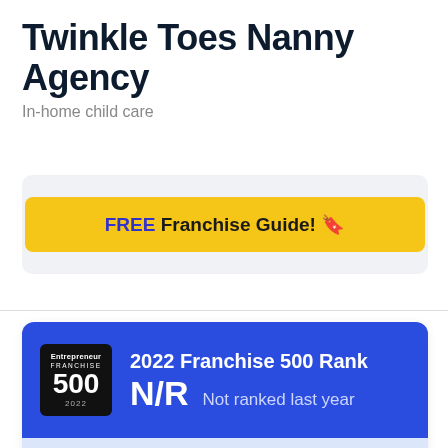Twinkle Toes Nanny Agency
In-home child care
FREE Franchise Guide! 🔖
[Figure (infographic): Blue card showing 2022 Franchise 500 Rank with Entrepreneur FRANCHISE 500 2022 badge on the left. Large text N/R with label Not ranked last year. Below is a lighter blue bar with See the Full List link.]